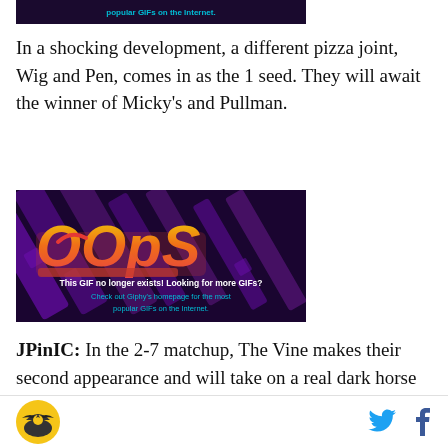[Figure (screenshot): Partial top of a Giphy placeholder image showing dark purple/black background with cyan text about popular GIFs on the Internet]
In a shocking development, a different pizza joint, Wig and Pen, comes in as the 1 seed. They will await the winner of Micky's and Pullman.
[Figure (screenshot): Giphy 'OOPS' placeholder image on dark purple background with colorful OOPS text and message: 'This GIF no longer exists! Looking for more GIFs? Check out Giphy's homepage for the most popular GIFs on the Internet.']
JPinIC: In the 2-7 matchup, The Vine makes their second appearance and will take on a real dark horse (and dark logo) in Big Grove. Big Grove, as you may
Logo and social icons (Twitter, Facebook)